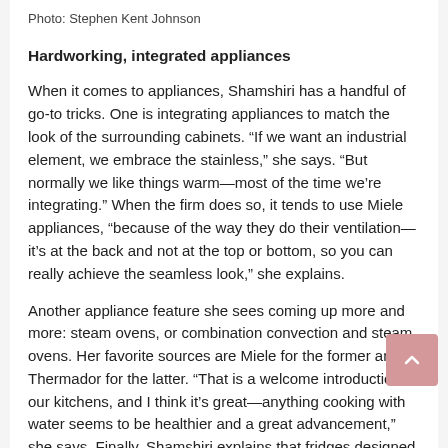Photo: Stephen Kent Johnson
Hardworking, integrated appliances
When it comes to appliances, Shamshiri has a handful of go-to tricks. One is integrating appliances to match the look of the surrounding cabinets. “If we want an industrial element, we embrace the stainless,” she says. “But normally we like things warm—most of the time we’re integrating.” When the firm does so, it tends to use Miele appliances, “because of the way they do their ventilation—it’s at the back and not at the top or bottom, so you can really achieve the seamless look,” she explains.
Another appliance feature she sees coming up more and more: steam ovens, or combination convection and steam ovens. Her favorite sources are Miele for the former and Thermador for the latter. “That is a welcome introduction to our kitchens, and I think it’s great—anything cooking with water seems to be healthier and a great advancement,” she says. Finally, Shamshiri explains that fridges designed specially for growing herbs and keeping them fresh are something that many clients are